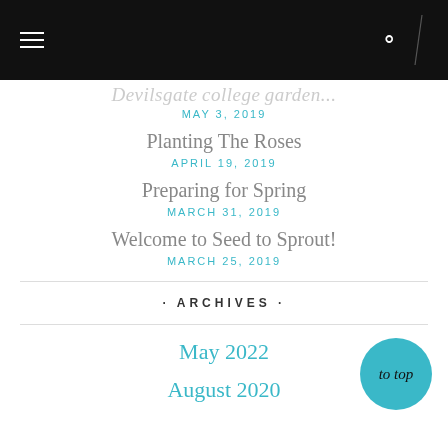Navigation bar with hamburger menu and search icon
[cut-off post title]
MAY 3, 2019
Planting The Roses
APRIL 19, 2019
Preparing for Spring
MARCH 31, 2019
Welcome to Seed to Sprout!
MARCH 25, 2019
ARCHIVES
May 2022
August 2020